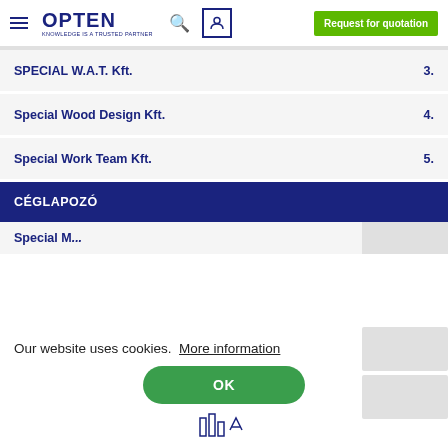OPTEN - KNOWLEDGE IS A TRUSTED PARTNER | Request for quotation
SPECIAL W.A.T. Kft. 3.
Special Wood Design Kft. 4.
Special Work Team Kft. 5.
CÉGLAPOZÓ
Special M... ...á... Kft.
Our website uses cookies. More information
OK